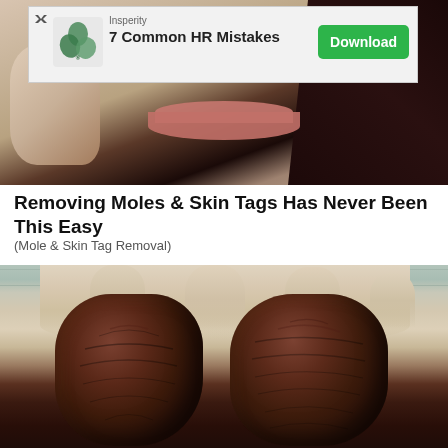[Figure (photo): Close-up photo of a woman's lower face (lips, chin, hand holding something near face) with dark hair, against a light background. An advertisement banner overlays the top portion of the image.]
[Figure (screenshot): Advertisement banner for Insperity reading '7 Common HR Mistakes' with a green Download button]
Removing Moles & Skin Tags Has Never Been This Easy
(Mole & Skin Tag Removal)
[Figure (photo): Close-up photo of an open hand palm-up holding two dark brown dates (fruit) against a tiled floor background.]